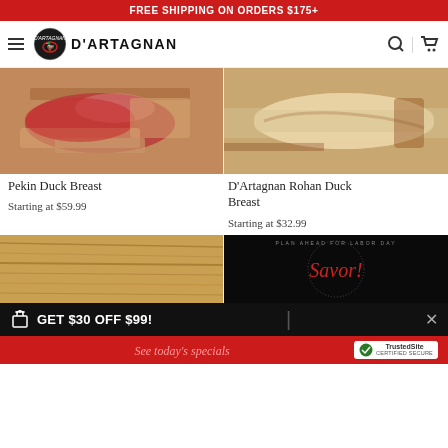FREE SHIPPING ON ORDERS $175+
[Figure (logo): D'Artagnan brand logo with duck mascot in circular emblem and brand name]
[Figure (photo): Pekin Duck Breast raw meat on wooden cutting board with parchment paper]
[Figure (photo): D'Artagnan Rohan Duck Breast raw meat on wooden cutting board]
Pekin Duck Breast
Starting at $59.99
D'Artagnan Rohan Duck Breast
Starting at $32.99
[Figure (photo): Close-up of wood grain texture on cutting board]
[Figure (photo): Dark background with circular text reading PLAN AHEAD FOR LABOR DAY and cursive red script]
GET $30 OFF $99!
See today's specials